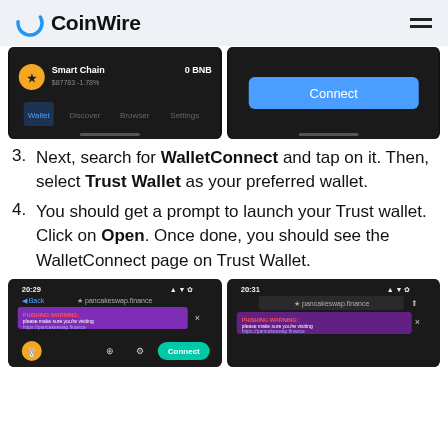CoinWire
[Figure (screenshot): Two mobile screenshots showing Trust Wallet Smart Chain screen with 0 BNB balance and a Connect button screen]
3. Next, search for WalletConnect and tap on it. Then, select Trust Wallet as your preferred wallet.
4. You should get a prompt to launch your Trust wallet. Click on Open. Once done, you should see the WalletConnect page on Trust Wallet.
[Figure (screenshot): Two mobile screenshots showing PancakeSwap finance page in Trust Wallet browser with PHISHING WARNING banner and Connect button]